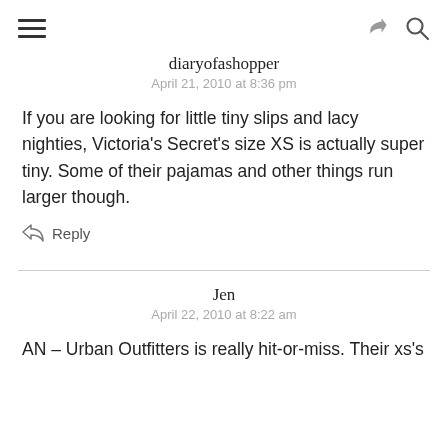diaryofashopper / April 21, 2010 at 8:36 pm
If you are looking for little tiny slips and lacy nighties, Victoria's Secret's size XS is actually super tiny. Some of their pajamas and other things run larger though.
Reply
Jen / April 22, 2010 at 8:22 am
AN – Urban Outfitters is really hit-or-miss. Their xs's